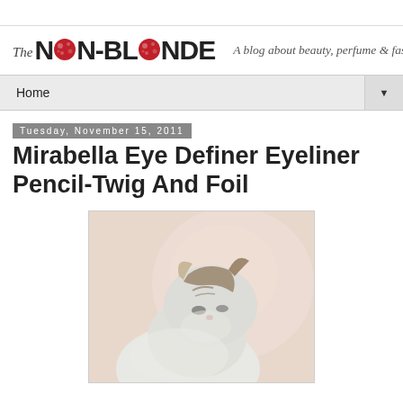The NON-BLONDE — A blog about beauty, perfume & fashion
Home
Tuesday, November 15, 2011
Mirabella Eye Definer Eyeliner Pencil-Twig And Foil
[Figure (photo): A white and brown tabby cat looking downward, photographed from above against a soft pinkish-beige background]